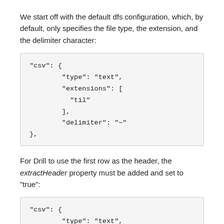We start off with the default dfs configuration, which, by default, only specifies the file type, the extension, and the delimiter character:
[Figure (screenshot): Code block showing JSON configuration: "csv": { "type": "text", "extensions": [ "til" ], "delimiter": "~" },]
For Drill to use the first row as the header, the extractHeader property must be added and set to "true":
[Figure (screenshot): Code block showing JSON configuration beginning: "csv": { "type": "text", "extensions": [ "til"]